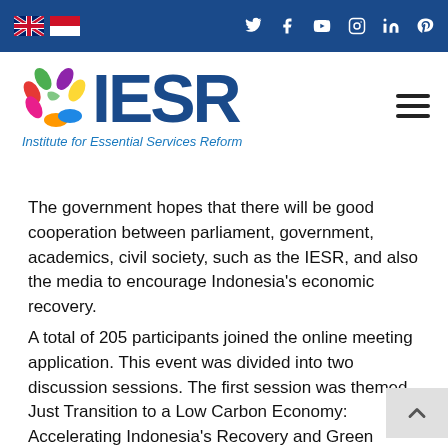Navigation bar with UK and Indonesia flags, and social media icons (Twitter, Facebook, YouTube, Instagram, LinkedIn, Pinterest)
[Figure (logo): IESR logo with colorful swirl icon and text 'IESR' in dark blue, subtitle 'Institute for Essential Services Reform' in italic blue]
The government hopes that there will be good cooperation between parliament, government, academics, civil society, such as the IESR, and also the media to encourage Indonesia's economic recovery.
A total of 205 participants joined the online meeting application. This event was divided into two discussion sessions. The first session was themed Just Transition to a Low Carbon Economy: Accelerating Indonesia's Recovery and Green Economic Growth. Meanwhile, the second session featured Transition to a Green Economy: Opportunities in Deploying Sustainable Jobs. After discussion, the participants watched the videos cre... by the Climate Innovation Hack video competition...